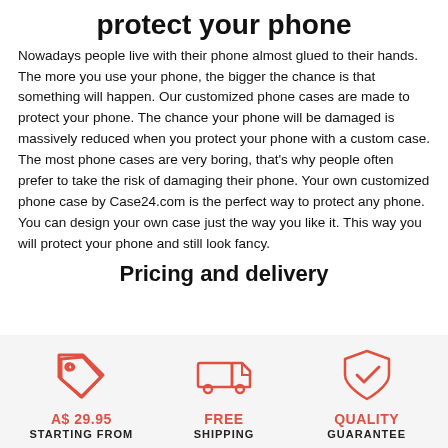protect your phone
Nowadays people live with their phone almost glued to their hands. The more you use your phone, the bigger the chance is that something will happen. Our customized phone cases are made to protect your phone. The chance your phone will be damaged is massively reduced when you protect your phone with a custom case. The most phone cases are very boring, that's why people often prefer to take the risk of damaging their phone. Your own customized phone case by Case24.com is the perfect way to protect any phone. You can design your own case just the way you like it. This way you will protect your phone and still look fancy.
Pricing and delivery
[Figure (illustration): Price tag icon in coral/red color]
A$ 29.95
STARTING FROM
[Figure (illustration): Delivery truck icon in coral/red color]
FREE
SHIPPING
[Figure (illustration): Shield with checkmark icon in coral/red color]
QUALITY
GUARANTEE